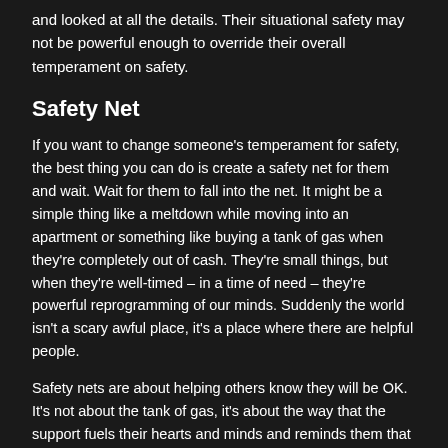and looked at all the details. Their situational safety may not be powerful enough to override their overall temperament on safety.
Safety Net
If you want to change someone's temperament for safety, the best thing you can do is create a safety net for them and wait. Wait for them to fall into the net. It might be a simple thing like a meltdown while moving into an apartment or something like buying a tank of gas when they're completely out of cash. They're small things, but when they're well-timed – in a time of need – they're powerful reprogramming of our minds. Suddenly the world isn't a scary awful place, it's a place where there are helpful people.
Safety nets are about helping others know they will be OK. It's not about the tank of gas, it's about the way that the support fuels their hearts and minds and reminds them that they don't have to go through the world alone.